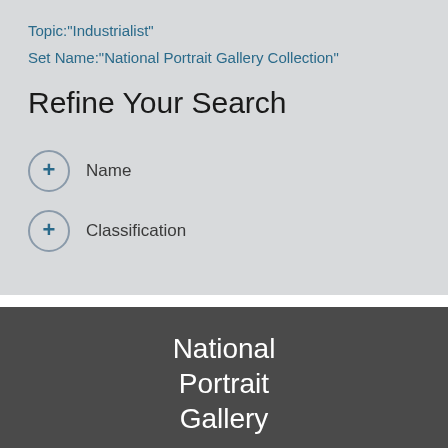Topic:"Industrialist"
Set Name:"National Portrait Gallery Collection"
Refine Your Search
+ Name
+ Classification
National Portrait Gallery